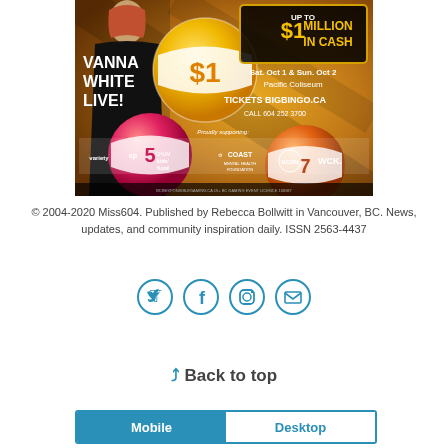[Figure (photo): Advertisement for Big Bingo event featuring Vanna White Live. Orange/golden background with bingo balls. Text: UP TO $1 MILLION IN CASH, Sat. Oct 1 & Sun. Oct 2, Pacific Coliseum, TICKETS BIGBINGO.CA, CALL 604 252 3700. Logos: Variety, CP, Kids Fund, Coast Mental Health Foundation, BCRN, WCK. Footer: BCRESPONSIBLEGAMING.CA 19+ BC GAMING EVENT LICENCE 106987]
© 2004-2020 Miss604. Published by Rebecca Bollwitt in Vancouver, BC. News, updates, and community inspiration daily. ISSN 2563-4437
[Figure (other): Four social media icons in circles: Twitter bird, Facebook f, Instagram camera, Email envelope]
Back to top
Mobile  Desktop